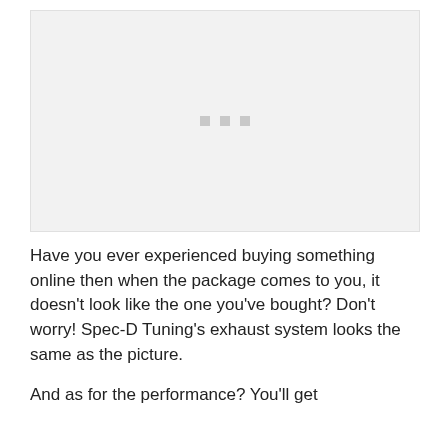[Figure (photo): Placeholder image area with three small grey squares centered, light grey background]
Have you ever experienced buying something online then when the package comes to you, it doesn't look like the one you've bought? Don't worry! Spec-D Tuning's exhaust system looks the same as the picture.
And as for the performance? You'll get